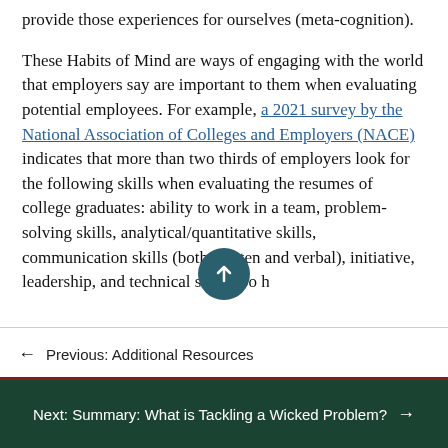provide those experiences for ourselves (meta-cognition).
These Habits of Mind are ways of engaging with the world that employers say are important to them when evaluating potential employees. For example, a 2021 survey by the National Association of Colleges and Employers (NACE) indicates that more than two thirds of employers look for the following skills when evaluating the resumes of college graduates: ability to work in a team, problem-solving skills, analytical/quantitative skills, communication skills (both written and verbal), initiative, leadership, and technical skills. So h
← Previous: Additional Resources
Next: Summary: What is Tackling a Wicked Problem? →